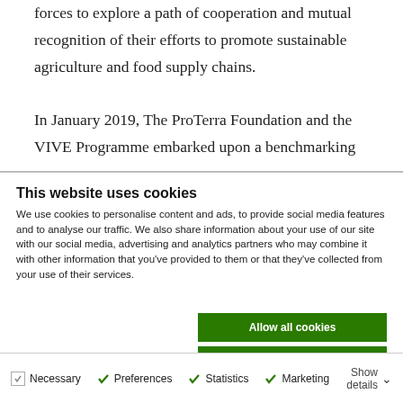forces to explore a path of cooperation and mutual recognition of their efforts to promote sustainable agriculture and food supply chains.

In January 2019, The ProTerra Foundation and the VIVE Programme embarked upon a benchmarking
This website uses cookies
We use cookies to personalise content and ads, to provide social media features and to analyse our traffic. We also share information about your use of our site with our social media, advertising and analytics partners who may combine it with other information that you've provided to them or that they've collected from your use of their services.
Allow all cookies
Allow selection
Use necessary cookies only
Necessary  Preferences  Statistics  Marketing  Show details